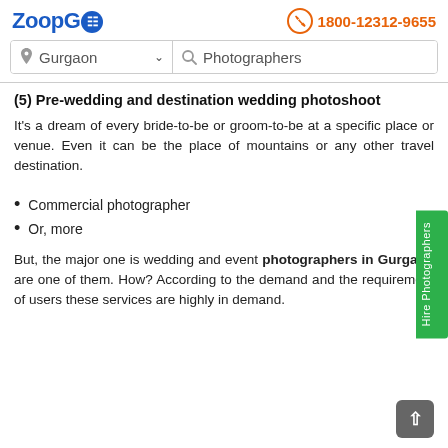ZoopGo | 1800-12312-9655
(5) Pre-wedding and destination wedding photoshoot
It's a dream of every bride-to-be or groom-to-be at a specific place or venue. Even it can be the place of mountains or any other travel destination.
Commercial photographer
Or, more
But, the major one is wedding and event photographers in Gurgaon are one of them. How? According to the demand and the requirement of users these services are highly in demand.